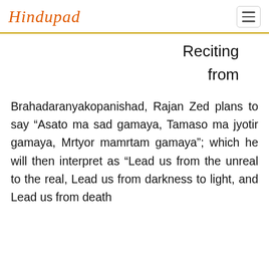Hindupad
Reciting from
Brahadaranyakopanishad, Rajan Zed plans to say “Asato ma sad gamaya, Tamaso ma jyotir gamaya, Mrtyor mamrtam gamaya”; which he will then interpret as “Lead us from the unreal to the real, Lead us from darkness to light, and Lead us from death